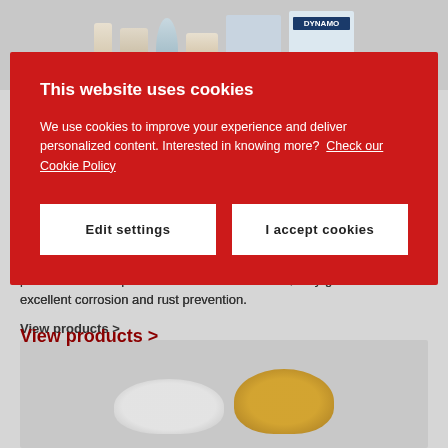[Figure (photo): Product bottles and containers in the background, partially visible at the top of the page]
pressure and temperature resistant. In addition, they guarantee an excellent corrosion and rust prevention.
View products >
[Figure (photo): White and yellow granule/pellet materials on a gray background]
[Figure (screenshot): Cookie consent overlay popup with red background. Title: 'This website uses cookies'. Body text: 'We use cookies to improve your experience and deliver personalized content. Interested in knowing more? Check our Cookie Policy'. Two buttons: 'Edit settings' and 'I accept cookies'.]
This website uses cookies
We use cookies to improve your experience and deliver personalized content. Interested in knowing more? Check our Cookie Policy
Edit settings
I accept cookies